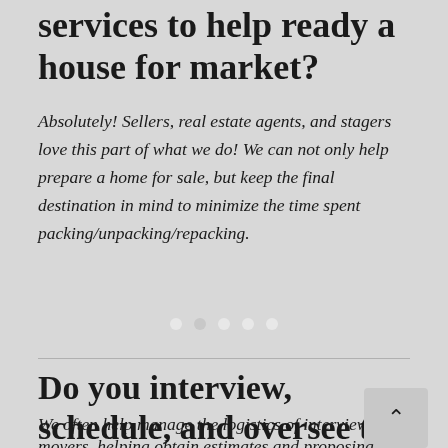services to help ready a house for market?
Absolutely! Sellers, real estate agents, and stagers love this part of what we do! We can not only help prepare a home for sale, but keep the final destination in mind to minimize the time spent packing/unpacking/repacking.
Do you interview, schedule, and oversee the movers?
We often help manage the logistics of interviewing movers, helping obtain estimates and proposing dates. Ho...